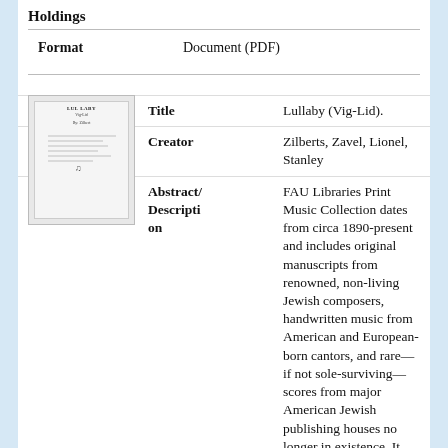Holdings
Format    Document (PDF)
[Figure (illustration): Thumbnail image of a sheet music document titled 'Lullaby (Vig-Lid)' with music notation lines and a musical note icon]
| Title | Lullaby (Vig-Lid). |
| Creator | Zilberts, Zavel, Lionel, Stanley |
| Abstract/Description | FAU Libraries Print Music Collection dates from circa 1890-present and includes original manuscripts from renowned, non-living Jewish composers, handwritten music from American and European-born cantors, and rare—if not sole-surviving—scores from major American Jewish publishing houses no longer in existence. It also houses one of the nation's largest collections of American Yiddish theater |